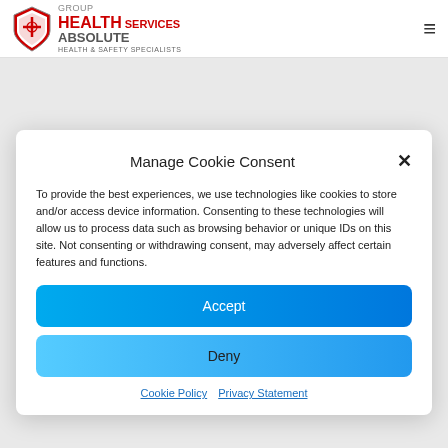Absolute Health Services — Health & Safety Specialists
Manage Cookie Consent
To provide the best experiences, we use technologies like cookies to store and/or access device information. Consenting to these technologies will allow us to process data such as browsing behavior or unique IDs on this site. Not consenting or withdrawing consent, may adversely affect certain features and functions.
Accept
Deny
Cookie Policy   Privacy Statement